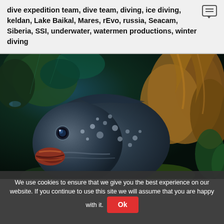dive expedition team, dive team, diving, ice diving, keldan, Lake Baikal, Mares, rEvo, russia, Seacam, Siberia, SSI, underwater, watermen productions, winter diving
[Figure (photo): Underwater photo of a large grouper fish facing the camera, surrounded by green and golden-brown coral and seaweed]
We use cookies to ensure that we give you the best experience on our website. If you continue to use this site we will assume that you are happy with it. Ok